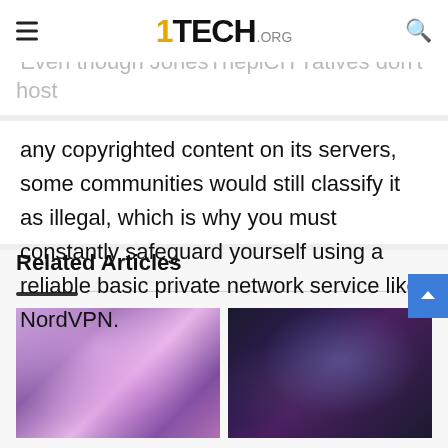1TECH.ORG
'Even though JonesThepirates don't host any copyrighted content on its servers, some communities would still classify it as illegal, which is why you must constantly safeguard yourself using a reliable basic private network service like NordVPN.
Related Articles
[Figure (photo): Anime girl with purple hair among cherry blossoms]
[Figure (photo): Soccer player (Cristiano Ronaldo style) pointing finger up, smiling]